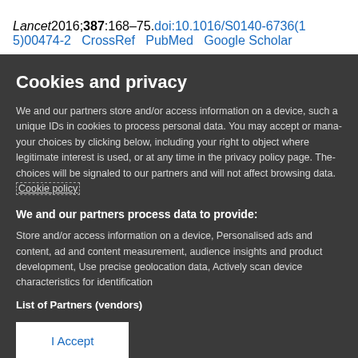Lancet2016;387:168–75.doi:10.1016/S0140-6736(15)00474-2   CrossRef   PubMed   Google Scholar
Cookies and privacy
We and our partners store and/or access information on a device, such as unique IDs in cookies to process personal data. You may accept or manage your choices by clicking below, including your right to object where legitimate interest is used, or at any time in the privacy policy page. These choices will be signaled to our partners and will not affect browsing data. Cookie policy
We and our partners process data to provide:
Store and/or access information on a device, Personalised ads and content, ad and content measurement, audience insights and product development, Use precise geolocation data, Actively scan device characteristics for identification
List of Partners (vendors)
I Accept